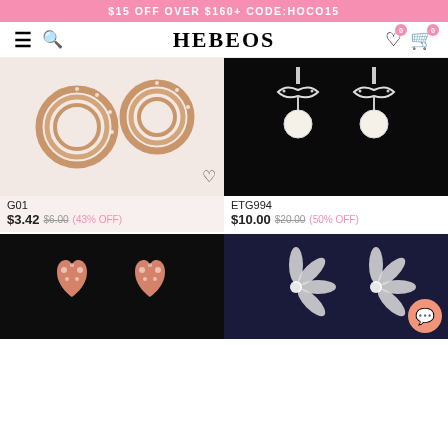$15 OFF OVER $160+ CODE:HOCO15
HEBEOS
[Figure (photo): Rose gold multi-hoop earrings with crystal embellishments on white/pink background]
G01
$3.42  $6.00 (43% OFF)
[Figure (photo): Silver bow drop earrings with pearl pendants on black background]
ETG994
$10.00  $20.00 (50% OFF)
[Figure (photo): Rose gold heart-shaped stud earrings with crystal pave on black background]
[Figure (photo): Silver flower crystal earrings on dark blue velvet background]